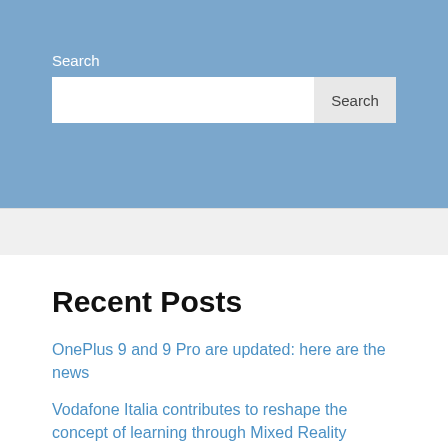Search
Search [input field] [Search button]
Recent Posts
OnePlus 9 and 9 Pro are updated: here are the news
Vodafone Italia contributes to reshape the concept of learning through Mixed Reality